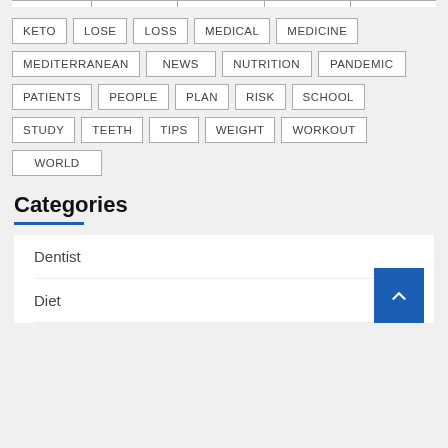KETO
LOSE
LOSS
MEDICAL
MEDICINE
MEDITERRANEAN
NEWS
NUTRITION
PANDEMIC
PATIENTS
PEOPLE
PLAN
RISK
SCHOOL
STUDY
TEETH
TIPS
WEIGHT
WORKOUT
WORLD
Categories
Dentist
Diet